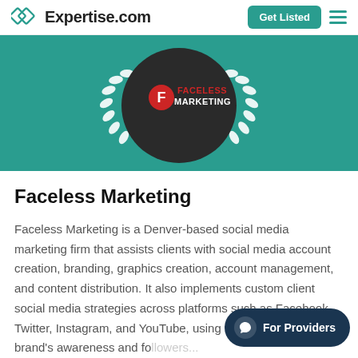Expertise.com | Get Listed
[Figure (logo): Faceless Marketing award badge with laurel wreath on teal background]
Faceless Marketing
Faceless Marketing is a Denver-based social media marketing firm that assists clients with social media account creation, branding, graphics creation, account management, and content distribution. It also implements custom client social media strategies across platforms such as Facebook, Twitter, Instagram, and YouTube, using targeted... increase the brand's awareness and fo...